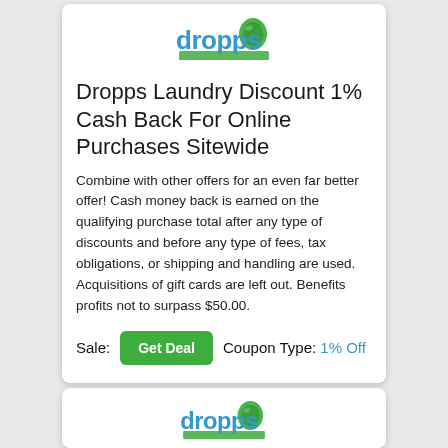[Figure (logo): Dropps laundry brand logo — blue dropps text with green leaf/drop icon]
Dropps Laundry Discount 1% Cash Back For Online Purchases Sitewide
Combine with other offers for an even far better offer! Cash money back is earned on the qualifying purchase total after any type of discounts and before any type of fees, tax obligations, or shipping and handling are used. Acquisitions of gift cards are left out. Benefits profits not to surpass $50.00.
Sale: Get Deal   Coupon Type: 1% Off
[Figure (logo): Dropps laundry brand logo — blue dropps text with green leaf/drop icon (second card)]